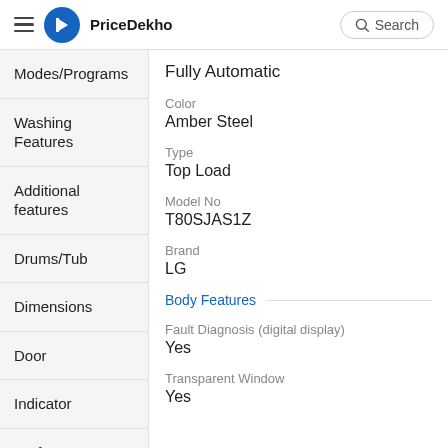PriceDekho
Modes/Programs
Fully Automatic
Washing Features
Color
Amber Steel
Additional features
Type
Top Load
Model No
T80SJAS1Z
Drums/Tub
Brand
LG
Dimensions
Body Features
Door
Fault Diagnosis (digital display)
Yes
Indicator
Transparent Window
Yes
Performance